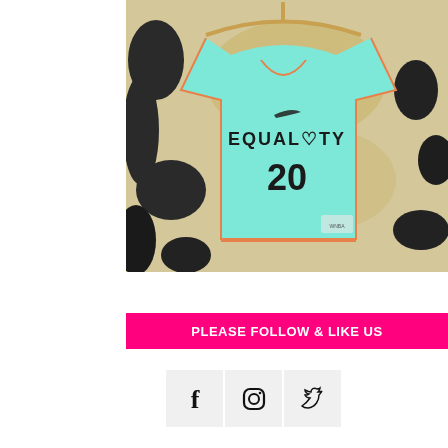[Figure (photo): A teal/mint green basketball jersey with 'EQUALITY' text and number 20, hanging on a wooden clothes hanger against a distressed grunge-style background with black splatters and yellow/cream tones. Nike swoosh logo visible on the jersey.]
PLEASE FOLLOW & LIKE US
[Figure (infographic): Three social media icon buttons side by side: Facebook (f), Instagram (camera), and Twitter (bird) icons, each in a light gray square box.]